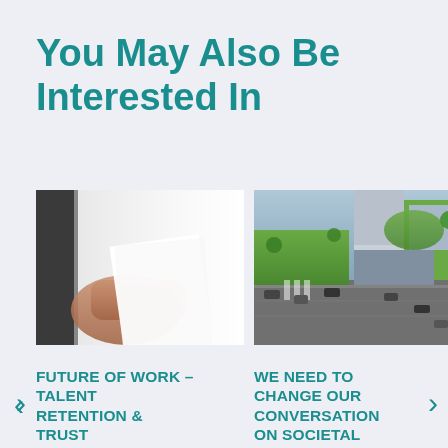You May Also Be Interested In
[Figure (photo): Person handing over a white sheet of paper in a bright office environment]
[Figure (photo): Aerial view of an urban city intersection with green lawns, roads, parked cars, and multi-story buildings]
FUTURE OF WORK – TALENT RETENTION & TRUST
WE NEED TO CHANGE OUR CONVERSATION ON SOCIETAL INFRASTRUCTURE